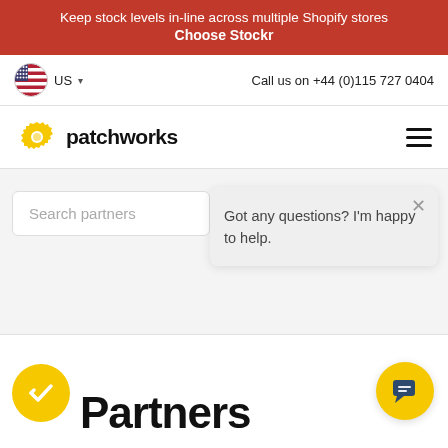Keep stock levels in-line across multiple Shopify stores
Choose Stockr
US
Call us on +44 (0)115 727 0404
[Figure (logo): Patchworks logo with yellow gear icon and bold patchworks text]
Search partners
Got any questions? I'm happy to help.
Partners